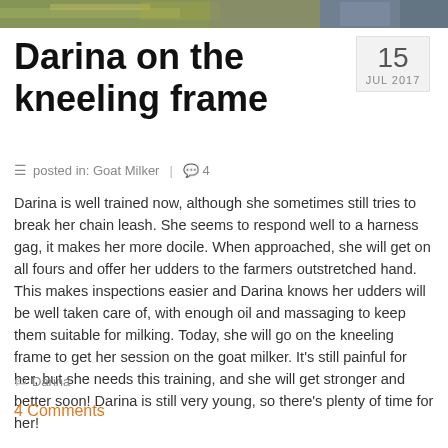[Figure (photo): Partial photo strip at top of page showing outdoor farm scene with hay/straw on left and blue equipment on right]
Darina on the kneeling frame
posted in: Goat Milker  |  4
Darina is well trained now, although she sometimes still tries to break her chain leash. She seems to respond well to a harness gag, it makes her more docile. When approached, she will get on all fours and offer her udders to the farmers outstretched hand. This makes inspections easier and Darina knows her udders will be well taken care of, with enough oil and massaging to keep them suitable for milking. Today, she will go on the kneeling frame to get her session on the goat milker. It's still painful for her, but she needs this training, and she will get stronger and better soon! Darina is still very young, so there's plenty of time for her!
Darina
4 Comments